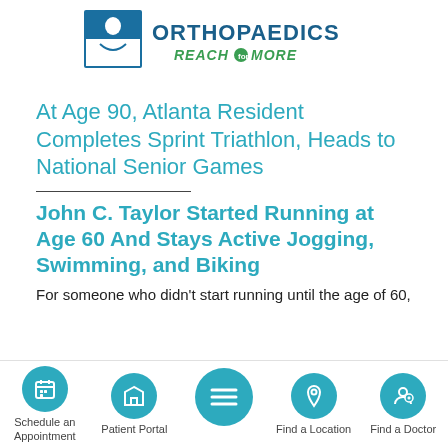[Figure (logo): Peachtree Orthopaedics logo with text ORTHOPAEDICS and tagline REACH for MORE in teal/green colors]
At Age 90, Atlanta Resident Completes Sprint Triathlon, Heads to National Senior Games
John C. Taylor Started Running at Age 60 And Stays Active Jogging, Swimming, and Biking
For someone who didn't start running until the age of 60,
Schedule an Appointment | Patient Portal | menu | Find a Location | Find a Doctor